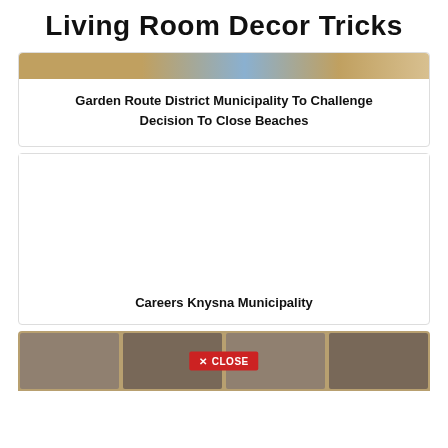Living Room Decor Tricks
Garden Route District Municipality To Challenge Decision To Close Beaches
[Figure (illustration): Large white card with label 'Careers Knysna Municipality' at the bottom]
[Figure (photo): Photo strip showing four men smiling, with a red CLOSE button overlay in the center]